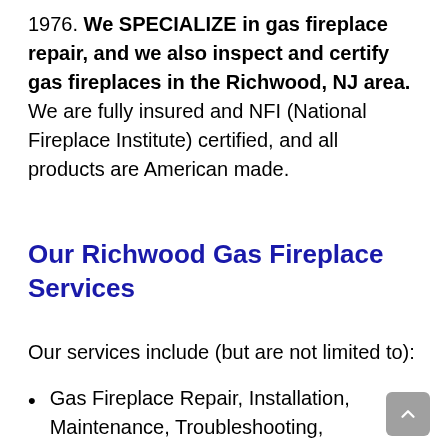1976. We SPECIALIZE in gas fireplace repair, and we also inspect and certify gas fireplaces in the Richwood, NJ area. We are fully insured and NFI (National Fireplace Institute) certified, and all products are American made.
Our Richwood Gas Fireplace Services
Our services include (but are not limited to):
Gas Fireplace Repair, Installation, Maintenance, Troubleshooting, Inspection, Certification